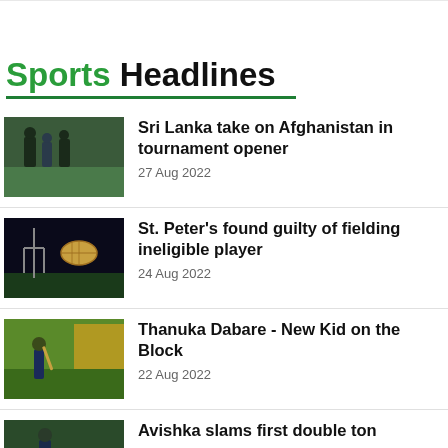Sports Headlines
Sri Lanka take on Afghanistan in tournament opener
27 Aug 2022
St. Peter's found guilty of fielding ineligible player
24 Aug 2022
Thanuka Dabare - New Kid on the Block
22 Aug 2022
Avishka slams first double ton